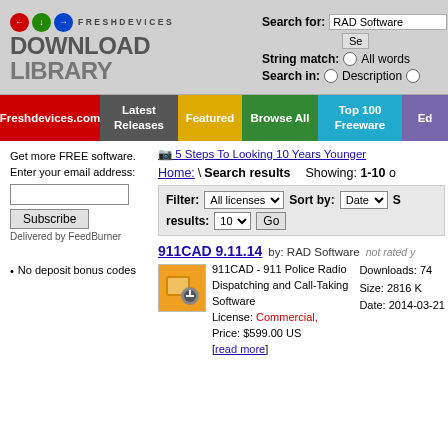[Figure (screenshot): FreshDevices Download Library website header with logo and search bar]
Search for: RAD Software | String match: All words | Search in: Description
Freshdevices.com | Latest Releases | Featured | Browse All | Top 100 Freeware | Ed...
5 Steps To Looking 10 Years Younger
Get more FREE software. Enter your email address:
Subscribe
Delivered by FeedBurner
No deposit bonus codes
Home: \ Search results    Showing: 1-10 o
Filter: All licenses   Sort by: Date   S   results: 10   Go
911CAD 9.11.14   by: RAD Software   not rated y
911CAD - 911 Police Radio Dispatching and Call-Taking Software
License: Commercial,
Price: $599.00 US
[read more]
Downloads: 74
Size: 2816 K
Date: 2014-03-21